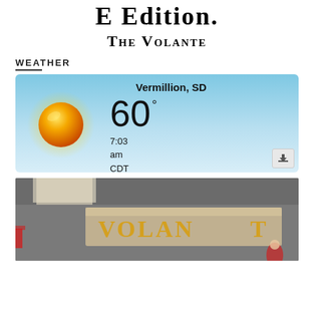E Edition.
The Volante
WEATHER
[Figure (infographic): Weather widget showing Vermillion, SD with sunny conditions. Large yellow sun graphic on left, temperature 60° on right, time 7:03 am CDT, condition Sunny. Blue sky gradient background.]
[Figure (photo): Interior photo showing a Volante sign/logo mounted on a wall, lit from above.]